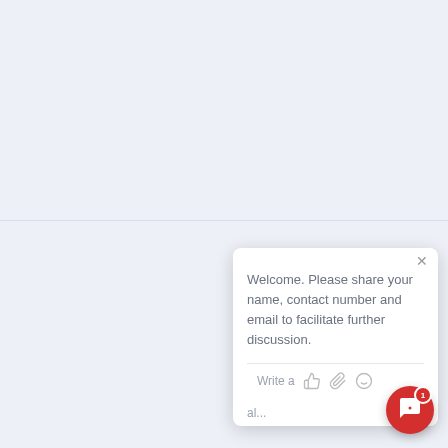[Figure (screenshot): Chat widget popup box with a welcome message asking user to share name, contact number and email. Contains a message input area with thumbs up, attachment, and emoji icons. A red chat bubble button with badge '1' sits in the bottom right corner.]